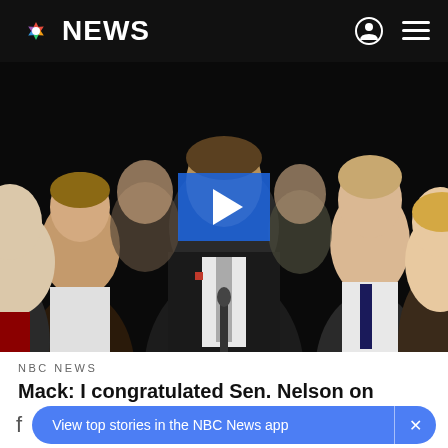NBC NEWS
[Figure (screenshot): Video thumbnail showing a man in a dark suit and tie speaking at a podium with a microphone, surrounded by several people including young men in dress shirts. A blue play button overlay is centered on the image.]
NBC NEWS
Mack: I congratulated Sen. Nelson on winning
View top stories in the NBC News app